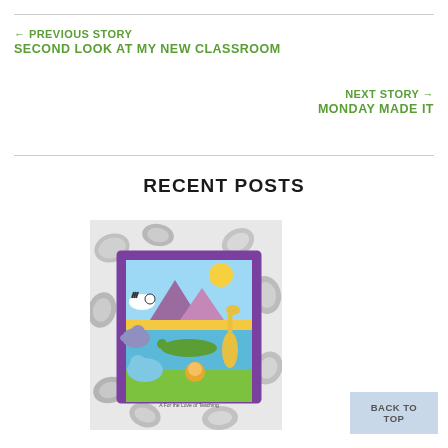← PREVIOUS STORY
SECOND LOOK AT MY NEW CLASSROOM
NEXT STORY →
MONDAY MADE IT
RECENT POSTS
[Figure (photo): Colorful animal puzzle board with jungle animals (zebra, elephant, hippo, giraffe, lion, crocodile) surrounded by silver chocolate nuggets on a light background]
BACK TO TOP